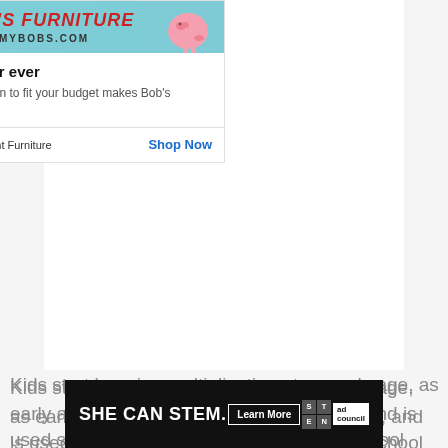[Figure (screenshot): Bob's Discount Furniture advertisement banner showing logo text MYBOBS.COM and a pink piggy bank character on a teal background]
Best finance offer ever
A monthly payment plan to fit your budget makes Bob's Discount even better.
Bob's Discount Furniture    Shop Now
Kids start learning multiplication at an early age, as early as 2nd or 3rd grade / primary school, and is used significantly throughout secondary school and is a necessary skill to have.
Making Math Easy
These multiplication charts help your child or
[Figure (screenshot): SHE CAN STEM advertisement banner with Learn More button, STEM grid logo, and Ad Council logo on dark background]